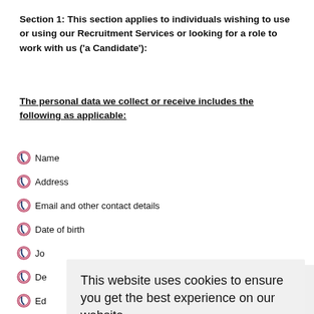Section 1: This section applies to individuals wishing to use or using our Recruitment Services or looking for a role to work with us ('a Candidate'):
The personal data we collect or receive includes the following as applicable:
Name
Address
Email and other contact details
Date of birth
Jo[b title / details - partially obscured]
De[tails - partially obscured]
Ed[ucation - partially obscured]
Vis[a / right to work - partially obscured]
Pa[ssport - partially obscured]
Ph[oto - partially obscured]
Ba[nk details - partially obscured]
This website uses cookies to ensure you get the best experience on our website. Read More Got it!